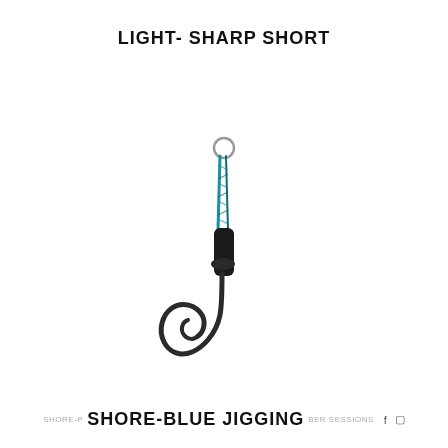LIGHT- SHARP SHORT
[Figure (photo): A fishing hook with a blue/teal braided cord and silver ring at the top, black shank, and dark curved hook point. This is a shore jigging hook with short shank design.]
SHORE-BLUE JIGGING  f  [instagram icon]